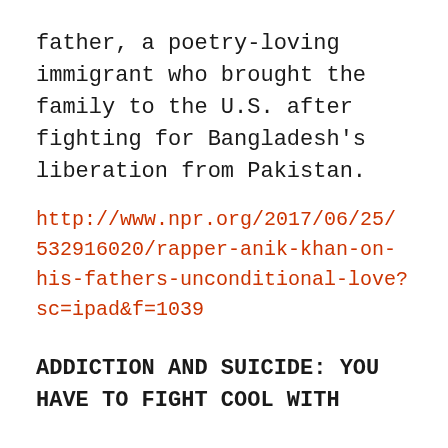father, a poetry-loving immigrant who brought the family to the U.S. after fighting for Bangladesh's liberation from Pakistan.
http://www.npr.org/2017/06/25/532916020/rapper-anik-khan-on-his-fathers-unconditional-love?sc=ipad&f=1039
ADDICTION AND SUICIDE: YOU HAVE TO FIGHT COOL WITH